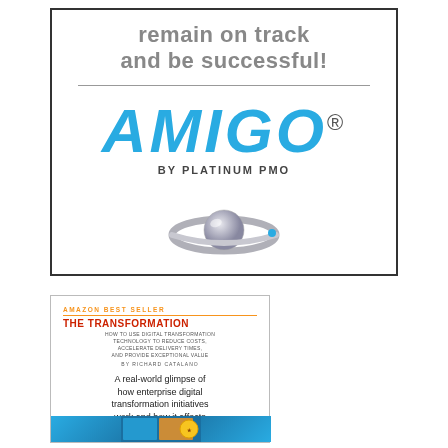remain on track and be successful!
[Figure (logo): AMIGO by Platinum PMO logo with Saturn-like ring graphic]
[Figure (illustration): Book cover card: Amazon Best Seller - THE TRANSFORMATION - How to use digital transformation technology to reduce costs, accelerate delivery times, and provide exceptional value - by Richard Catalano. Text: A real-world glimpse of how enterprise digital transformation initiatives work and how it affects the lives of those involved.]